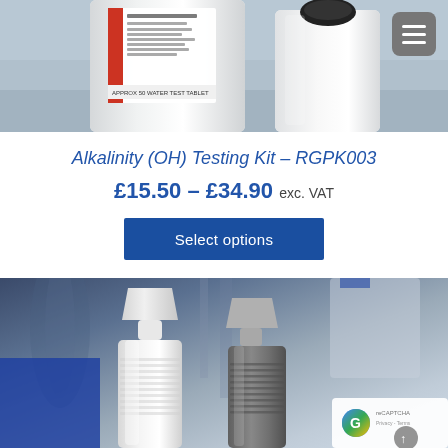[Figure (photo): Photo of alkalinity testing kit bottles with white caps on a blue-grey surface, with a hamburger menu icon in top right corner]
Alkalinity (OH) Testing Kit – RGPK003
£15.50 – £34.90 exc. VAT
Select options
[Figure (photo): Close-up photo of two dropper bottles (white and dark grey) in a laboratory setting with glassware in the background, with reCAPTCHA badge in bottom right]